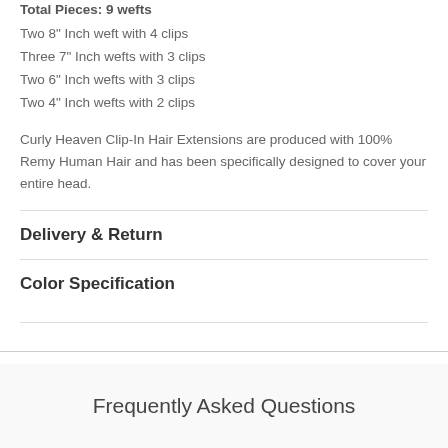Total Pieces: 9 wefts
Two 8" Inch weft with 4 clips
Three 7" Inch wefts with 3 clips
Two 6" Inch wefts with 3 clips
Two 4" Inch wefts with 2 clips
Curly Heaven Clip-In Hair Extensions are produced with 100% Remy Human Hair and has been specifically designed to cover your entire head.
Delivery & Return
Color Specification
Frequently Asked Questions